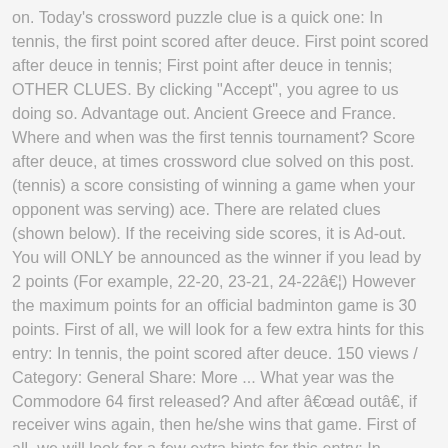on. Today's crossword puzzle clue is a quick one: In tennis, the first point scored after deuce. First point scored after deuce in tennis; First point after deuce in tennis; OTHER CLUES. By clicking "Accept", you agree to us doing so. Advantage out. Ancient Greece and France. Where and when was the first tennis tournament? Score after deuce, at times crossword clue solved on this post. (tennis) a score consisting of winning a game when your opponent was serving) ace. There are related clues (shown below). If the receiving side scores, it is Ad-out. You will ONLY be announced as the winner if you lead by 2 points (For example, 22-20, 23-21, 24-22â€¦) However the maximum points for an official badminton game is 30 points. First of all, we will look for a few extra hints for this entry: In tennis, the point scored after deuce. 150 views / Category: General Share: More ... What year was the Commodore 64 first released? And after â€œad outâ€, if receiver wins again, then he/she wins that game. First of all, we will look for a few extra hints for this entry: In tennis, the point scored after deuce. Again you can win a tiebreak 7-5 but not 7-6 for example. The word that solves this crossword puzzle is 4 letters